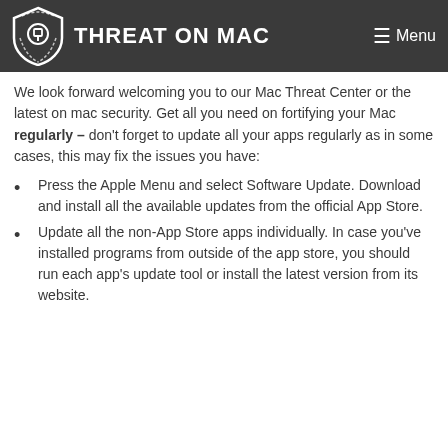THREAT ON MAC
We look forward welcoming you to our Mac Threat Center or the latest on mac security. Get all you need on fortifying your Mac regularly – don't forget to update all your apps regularly as in some cases, this may fix the issues you have:
Press the Apple Menu and select Software Update. Download and install all the available updates from the official App Store.
Update all the non-App Store apps individually. In case you've installed programs from outside of the app store, you should run each app's update tool or install the latest version from its website.